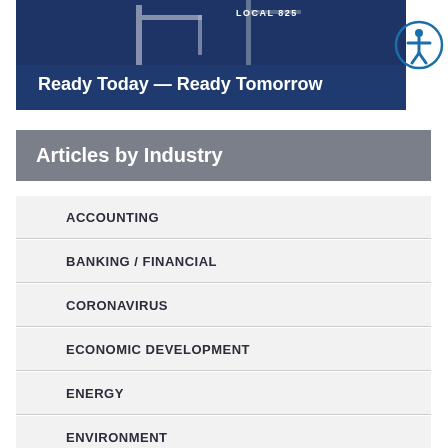[Figure (illustration): Banner advertisement for Local 825 with dark blue background showing crane/construction equipment silhouettes and text 'Ready Today — Ready Tomorrow']
Articles by Industry
ACCOUNTING
BANKING / FINANCIAL
CORONAVIRUS
ECONOMIC DEVELOPMENT
ENERGY
ENVIRONMENT
GENERAL BUSINESS